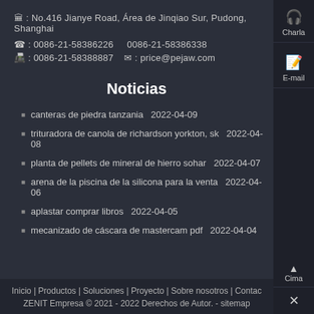🏛 : No.416 Jianye Road, Área de Jinqiao Sur, Pudong, Shanghai
☎ : 0086-21-58386226   0086-21-58386338
📠 : 0086-21-58388887   ✉ : price@pejaw.com
Noticias
canteras de piedra tanzania  2022-04-09
trituradora de canola de richardson yorkton, sk  2022-04-08
planta de pellets de mineral de hierro sohar  2022-04-07
arena de la piscina de la silicona para la venta  2022-04-06
aplastar comprar libros  2022-04-05
mecanizado de cáscara de mastercam pdf  2022-04-04
Inicio | Productos | Soluciones | Proyecto | Sobre nosotros | Contac
ZENIT Empresa © 2021 - 2022 Derechos de Autor. - sitemap